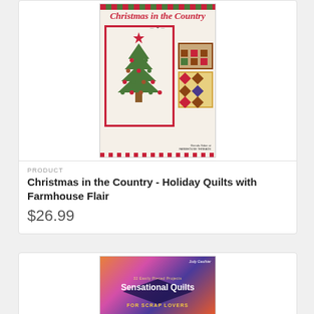[Figure (photo): Book cover for 'Christmas in the Country - Holiday Quilts with Farmhouse Flair'. Shows a Christmas tree quilt wall hanging with stockings, a red star, red and green checkered borders, and smaller quilt images.]
PRODUCT
Christmas in the Country - Holiday Quilts with Farmhouse Flair
$26.99
[Figure (photo): Book cover for 'Sensational Quilts for Scrap Lovers' by Judy Gauthier. Colorful patchwork quilt design with triangles in orange, pink, blue, and purple tones.]